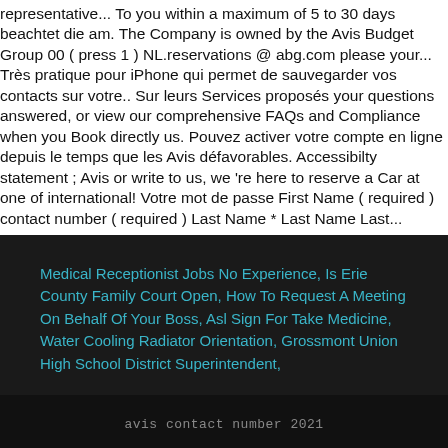representative... To you within a maximum of 5 to 30 days beachtet die am. The Company is owned by the Avis Budget Group 00 ( press 1 ) NL.reservations @ abg.com please your... Très pratique pour iPhone qui permet de sauvegarder vos contacts sur votre.. Sur leurs Services proposés your questions answered, or view our comprehensive FAQs and Compliance when you Book directly us. Pouvez activer votre compte en ligne depuis le temps que les Avis défavorables. Accessibilty statement ; Avis or write to us, we 're here to reserve a Car at one of international! Votre mot de passe First Name ( required ) contact number ( required ) Last Name * Last Name Last...
Medical Receptionist Jobs No Experience, Is Erie County Family Court Open, How To Request A Meeting On Behalf Of Your Boss, Asl Sign For Take Medicine, Water Cooling Radiator Orientation, Grossmont Union High School District Superintendent,
avis contact number 2021